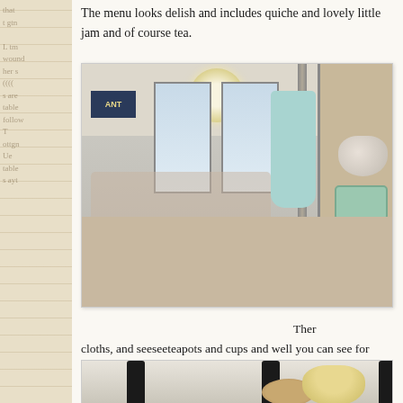The menu looks delish and includes quiche and lovely little jam and of course tea.
[Figure (photo): Interior of a tea room with red and white checkered floor, chandelier lighting, decorated tables, an apron hanging on a divider, and shelving with teapots and items on the right side.]
Ther cloths, and seeseeteapots and cups and well you can see for wrapped candies and treats of different kinds and wrapped s attractively in cups and pretty dishes. It was such a fun and
[Figure (photo): Partial view of people and decorative items including lamps.]